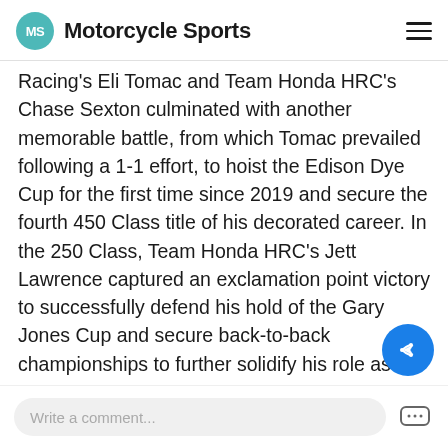MS Motorcycle Sports
Racing's Eli Tomac and Team Honda HRC's Chase Sexton culminated with another memorable battle, from which Tomac prevailed following a 1-1 effort, to hoist the Edison Dye Cup for the first time since 2019 and secure the fourth 450 Class title of his decorated career. In the 250 Class, Team Honda HRC's Jett Lawrence captured an exclamation point victory to successfully defend his hold of the Gary Jones Cup and secure back-to-back championships to further solidify his role as the sport's youngest star.
Read full story >
Write a comment...